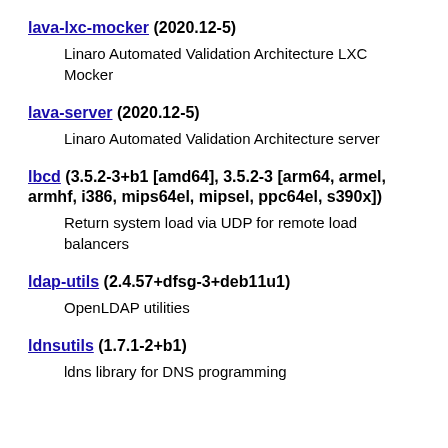lava-lxc-mocker (2020.12-5)
Linaro Automated Validation Architecture LXC Mocker
lava-server (2020.12-5)
Linaro Automated Validation Architecture server
lbcd (3.5.2-3+b1 [amd64], 3.5.2-3 [arm64, armel, armhf, i386, mips64el, mipsel, ppc64el, s390x])
Return system load via UDP for remote load balancers
ldap-utils (2.4.57+dfsg-3+deb11u1)
OpenLDAP utilities
ldnsutils (1.7.1-2+b1)
ldns library for DNS programming